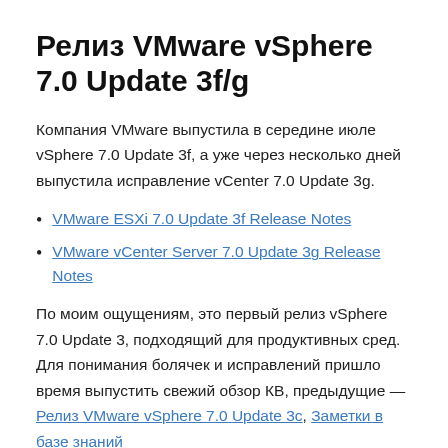Релиз VMware vSphere 7.0 Update 3f/g
Компания VMware выпустила в середине июле vSphere 7.0 Update 3f, а уже через несколько дней выпустила исправление vCenter 7.0 Update 3g.
VMware ESXi 7.0 Update 3f Release Notes
VMware vCenter Server 7.0 Update 3g Release Notes
По моим ощущениям, это первый релиз vSphere 7.0 Update 3, подходящий для продуктивных сред. Для понимания болячек и исправлений пришло время выпустить свежий обзор КВ, предыдущие — Релиз VMware vSphere 7.0 Update 3с, Заметки в базе знаний